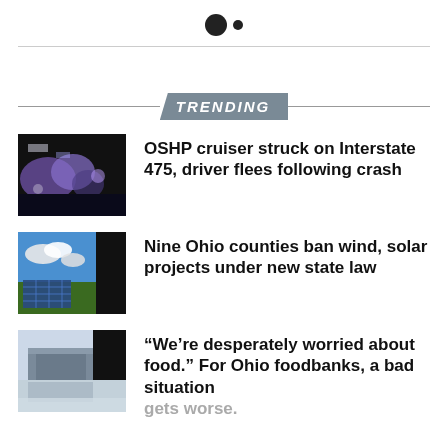● ·
TRENDING
[Figure (photo): Night scene with blue and purple lights, police or emergency vehicle lights on a dark road]
OSHP cruiser struck on Interstate 475, driver flees following crash
[Figure (photo): Solar panels in a field under blue sky with clouds, partially darkened on right]
Nine Ohio counties ban wind, solar projects under new state law
[Figure (photo): Building exterior with sign, sky visible, fading/reflected at bottom]
“We’re desperately worried about food.” For Ohio foodbanks, a bad situation gets worse.